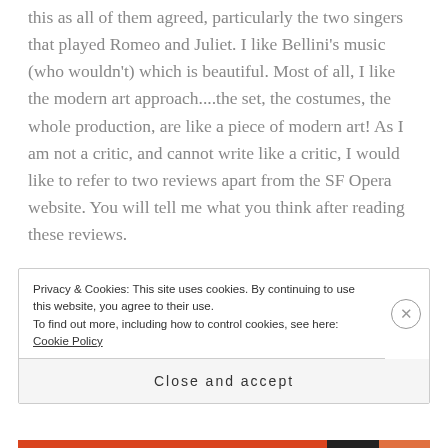this as all of them agreed, particularly the two singers that played Romeo and Juliet.  I like Bellini's music (who wouldn't) which is beautiful.   Most of all, I like the modern art approach....the set, the costumes, the whole production, are like a piece of modern art!  As I am not a critic, and cannot write like a critic, I would like to refer to two reviews apart from the SF Opera website.  You will tell me what you think after reading these reviews.
Privacy & Cookies: This site uses cookies. By continuing to use this website, you agree to their use.
To find out more, including how to control cookies, see here: Cookie Policy
Close and accept